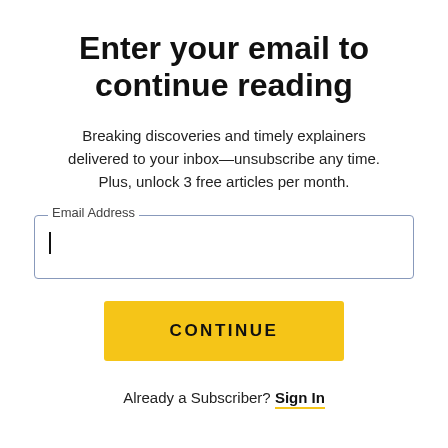Enter your email to continue reading
Breaking discoveries and timely explainers delivered to your inbox—unsubscribe any time. Plus, unlock 3 free articles per month.
Email Address
CONTINUE
Already a Subscriber? Sign In